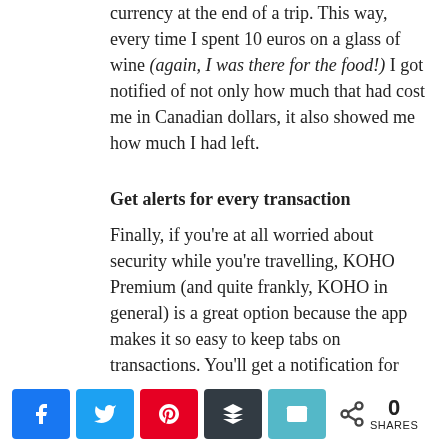currency at the end of a trip. This way, every time I spent 10 euros on a glass of wine (again, I was there for the food!) I got notified of not only how much that had cost me in Canadian dollars, it also showed me how much I had left.
Get alerts for every transaction
Finally, if you're at all worried about security while you're travelling, KOHO Premium (and quite frankly, KOHO in general) is a great option because the app makes it so easy to keep tabs on transactions. You'll get a notification for each amount that goes through, and if you see something fishy, you can pause the card in seconds from the app without ever picking up the phone and calling
[Figure (other): Social sharing bar with Facebook, Twitter, Pinterest, Buffer, Email buttons and share count showing 0 SHARES]